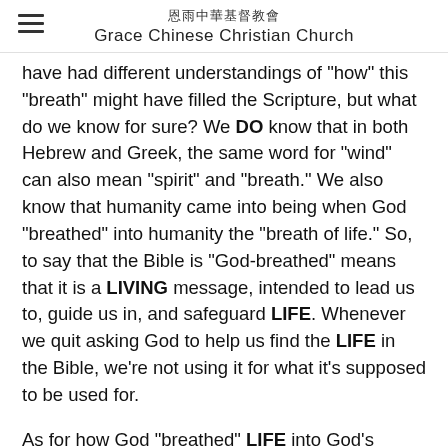恩雨中华基督教会 Grace Chinese Christian Church
have had different understandings of "how" this "breath" might have filled the Scripture, but what do we know for sure? We DO know that in both Hebrew and Greek, the same word for "wind" can also mean "spirit" and "breath." We also know that humanity came into being when God "breathed" into humanity the "breath of life." So, to say that the Bible is "God-breathed" means that it is a LIVING message, intended to lead us to, guide us in, and safeguard LIFE. Whenever we quit asking God to help us find the LIFE in the Bible, we're not using it for what it's supposed to be used for.
As for how God "breathed" LIFE into God's Word, our human understanding can speculate multiple ways. A former leader in a very conservative denomination simply said that some people believed in VERBAL inspiration and some people believed in THOUGHT inspiration. "The verbal inspiration group insists that God...